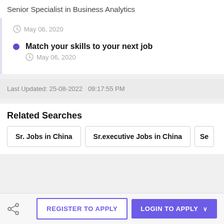Senior Specialist in Business Analytics
May 06, 2020
Match your skills to your next job
May 06, 2020
Last Updated: 25-08-2022  09:17:55 PM
Related Searches
Sr. Jobs in China
Sr.executive Jobs in China
Se
REGISTER TO APPLY
LOGIN TO APPLY